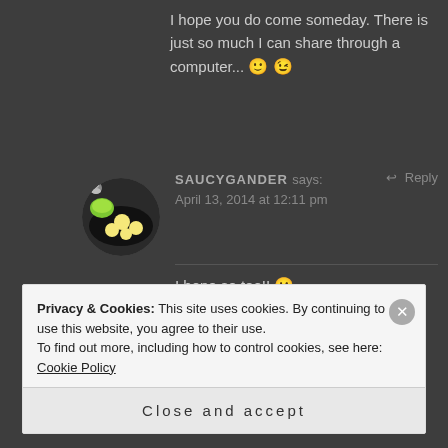I hope you do come someday. There is just so much I can share through a computer... 🙂 😉
SAUCYGANDER says: Reply
April 13, 2014 at 12:11 pm
I hope so too!! 😀
Privacy & Cookies: This site uses cookies. By continuing to use this website, you agree to their use.
To find out more, including how to control cookies, see here: Cookie Policy
Close and accept